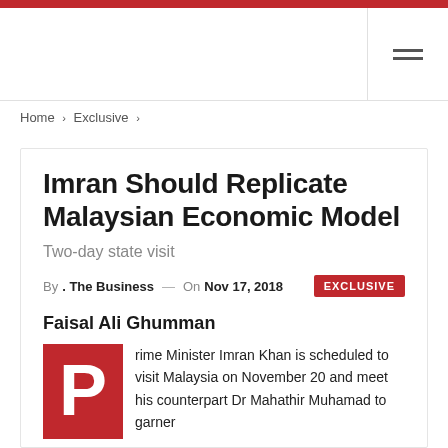Home > Exclusive >
Imran Should Replicate Malaysian Economic Model
Two-day state visit
By . The Business — On Nov 17, 2018  EXCLUSIVE
Faisal Ali Ghumman
Prime Minister Imran Khan is scheduled to visit Malaysia on November 20 and meet his counterpart Dr Mahathir Muhamad to garner the latter's support in bilateral trade